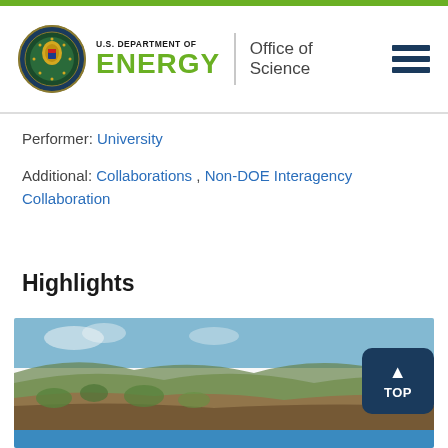U.S. DEPARTMENT OF ENERGY | Office of Science
Performer: University
Additional: Collaborations , Non-DOE Interagency Collaboration
Highlights
[Figure (photo): Aerial landscape photo showing rolling hills with vegetation and exposed soil/rock, partially blurred]